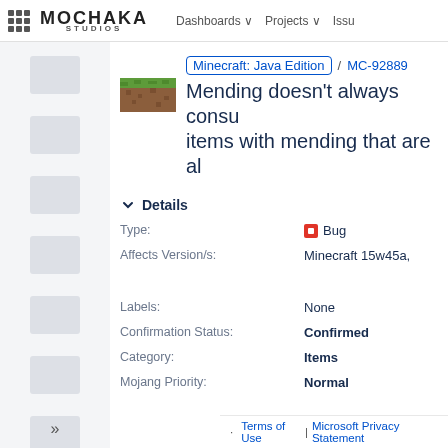Mocha Studios | Dashboards | Projects | Issues
[Figure (logo): Minecraft grass block icon]
Minecraft: Java Edition / MC-92889 Mending doesn't always consume XP on items with mending that are already full
Details
| Field | Value | Field2 |
| --- | --- | --- |
| Type: | Bug | Status: |
| Affects Version/s: | Minecraft 15w45a, | Resolution: Fix Version/s: |
| Labels: | None |  |
| Confirmation Status: | Confirmed |  |
| Category: | Items |  |
| Mojang Priority: | Normal |  |
Terms of Use | Microsoft Privacy Statement